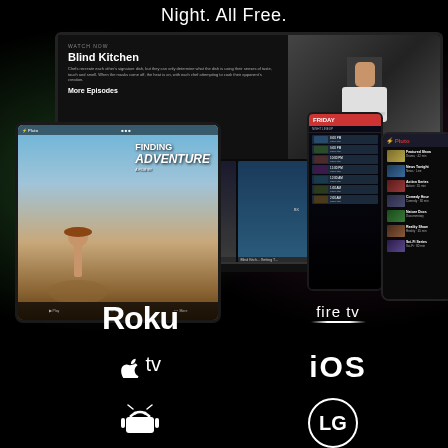Night. All Free.
[Figure (screenshot): Multiple device screens showing a streaming service app with content including 'Blind Kitchen' on a TV, 'Finding Adventure' on a tablet, and a schedule view on a phone]
[Figure (logo): Roku logo]
[Figure (logo): fire tv logo]
[Figure (logo): Apple TV logo]
[Figure (logo): iOS logo]
[Figure (logo): Android logo]
[Figure (logo): LG logo]